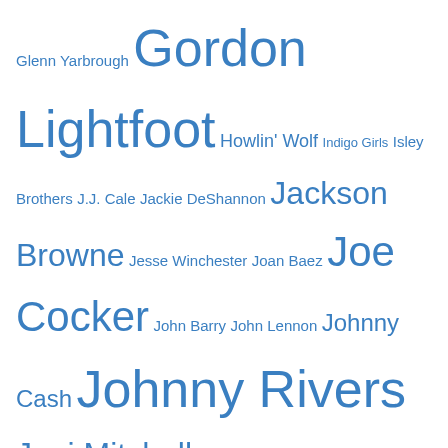Glenn Yarbrough Gordon Lightfoot Howlin' Wolf Indigo Girls Isley Brothers J.J. Cale Jackie DeShannon Jackson Browne Jesse Winchester Joan Baez Joe Cocker John Barry John Lennon Johnny Cash Johnny Rivers Joni Mitchell Joy of Cooking Leon Russell Linda Ronstadt Little Richard Long John Baldry Moody Blues Muddy Waters Nanci Griffith Neil Diamond Neil Young Peter Paul & Mary Redbone Richie Havens Rolling Stones Shawn Phillips Simon & Garfunkel Staple Singers Steely Dan Stephen Stills Temptations The Band Three Dog Night Tower of Power Van Morrison Wilson Pickett
Categories